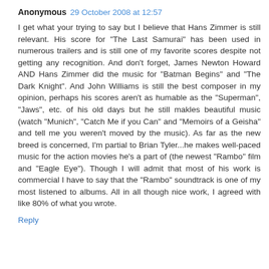Anonymous 29 October 2008 at 12:57
I get what your trying to say but I believe that Hans Zimmer is still relevant. His score for "The Last Samurai" has been used in numerous trailers and is still one of my favorite scores despite not getting any recognition. And don't forget, James Newton Howard AND Hans Zimmer did the music for "Batman Begins" and "The Dark Knight". And John Williams is still the best composer in my opinion, perhaps his scores aren't as humable as the "Superman", "Jaws", etc. of his old days but he still makles beautiful music (watch "Munich", "Catch Me if you Can" and "Memoirs of a Geisha" and tell me you weren't moved by the music). As far as the new breed is concerned, I'm partial to Brian Tyler...he makes well-paced music for the action movies he's a part of (the newest "Rambo" film and "Eagle Eye"). Though I will admit that most of his work is commercial I have to say that the "Rambo" soundtrack is one of my most listened to albums. All in all though nice work, I agreed with like 80% of what you wrote.
Reply